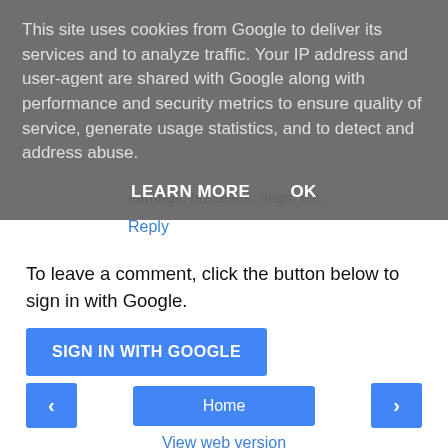This site uses cookies from Google to deliver its services and to analyze traffic. Your IP address and user-agent are shared with Google along with performance and security metrics to ensure quality of service, generate usage statistics, and to detect and address abuse.
LEARN MORE   OK
earrings, bracelets, rings, etc.
Reply
To leave a comment, click the button below to sign in with Google.
SIGN IN WITH GOOGLE
‹
Home
›
View web version